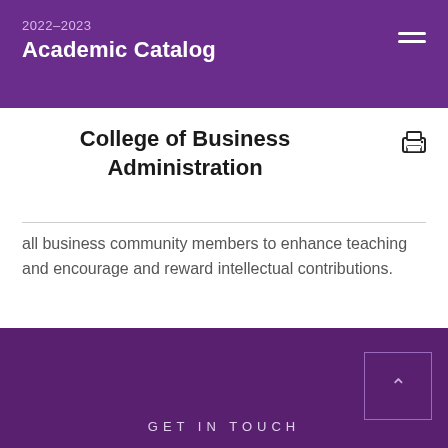2022–2023 Academic Catalog
College of Business Administration
all business community members to enhance teaching and encourage and reward intellectual contributions.
GET IN TOUCH